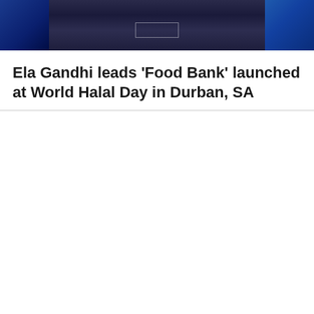[Figure (photo): Banner photo showing an interior room with dark blue tones. Left side shows blue chairs, center shows a dark floor with a white rectangular outline/marking, right side shows a blue table or surface. The overall color palette is dark blue and black.]
Ela Gandhi leads ‘Food Bank’ launched at World Halal Day in Durban, SA